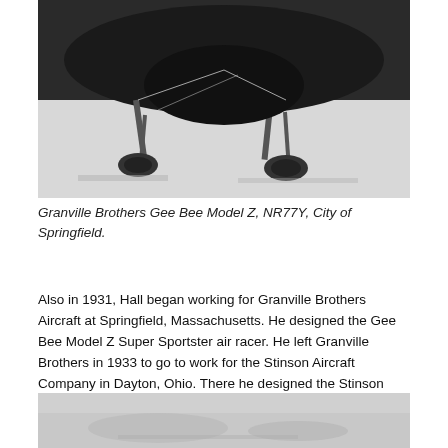[Figure (photo): Black and white close-up photograph of the undercarriage and landing gear of the Granville Brothers Gee Bee Model Z aircraft on the ground.]
Granville Brothers Gee Bee Model Z, NR77Y, City of Springfield.
Also in 1931, Hall began working for Granville Brothers Aircraft at Springfield, Massachusetts. He designed the Gee Bee Model Z Super Sportster air racer. He left Granville Brothers in 1933 to go to work for the Stinson Aircraft Company in Dayton, Ohio. There he designed the Stinson Reliant.
[Figure (photo): Black and white photograph, partially visible at bottom of page, appears to show an aircraft on a light-colored surface.]